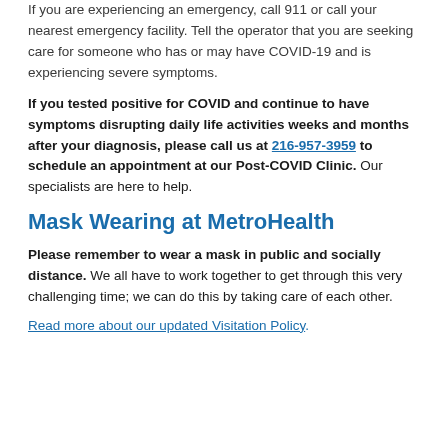If you are experiencing an emergency, call 911 or call your nearest emergency facility. Tell the operator that you are seeking care for someone who has or may have COVID-19 and is experiencing severe symptoms.
If you tested positive for COVID and continue to have symptoms disrupting daily life activities weeks and months after your diagnosis, please call us at 216-957-3959 to schedule an appointment at our Post-COVID Clinic. Our specialists are here to help.
Mask Wearing at MetroHealth
Please remember to wear a mask in public and socially distance. We all have to work together to get through this very challenging time; we can do this by taking care of each other.
Read more about our updated Visitation Policy.